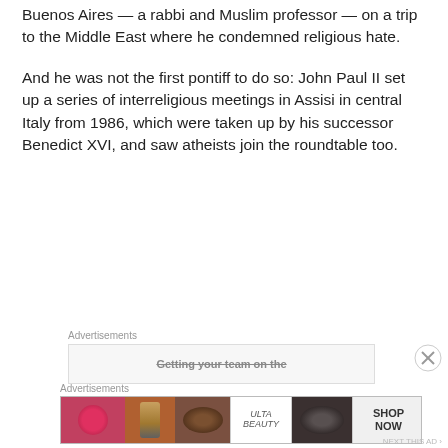Buenos Aires — a rabbi and Muslim professor — on a trip to the Middle East where he condemned religious hate.
And he was not the first pontiff to do so: John Paul II set up a series of interreligious meetings in Assisi in central Italy from 1986, which were taken up by his successor Benedict XVI, and saw atheists join the roundtable too.
Advertisements
[Figure (screenshot): Advertisement banner showing 'Getting your team on the...' text, partially visible]
Advertisements
[Figure (screenshot): ULTA beauty advertisement banner with makeup images and 'SHOP NOW' call to action]